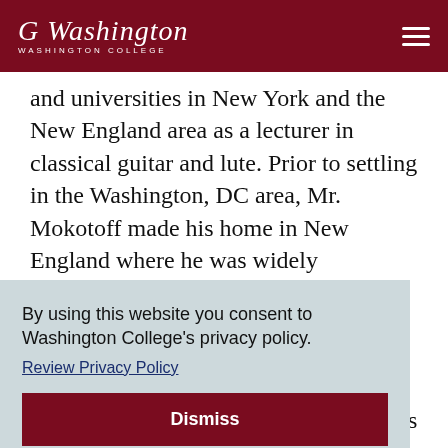Washington College
and universities in New York and the New England area as a lecturer in classical guitar and lute. Prior to settling in the Washington, DC area, Mr. Mokotoff made his home in New England where he was widely recognized as an active guitarist and lutenist. During that period his career culminated with two Far East tours and a well-
By using this website you consent to Washington College's privacy policy. Review Privacy Policy
Dismiss
called his playing, 'truly monumental' as well as